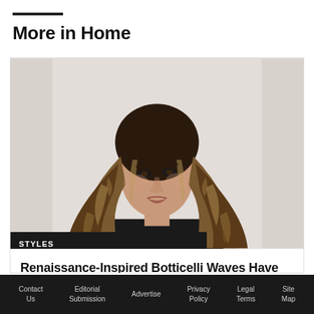More in Home
[Figure (photo): Woman with long wavy brown/blonde ombre hair wearing a black top, photographed from shoulders up against a light gray background.]
STYLES
Renaissance-Inspired Botticelli Waves Have Arrived Just in Time for Summer
Contact Us   Editorial Submission   Advertise   Privacy Policy   Legal Terms   Site Map